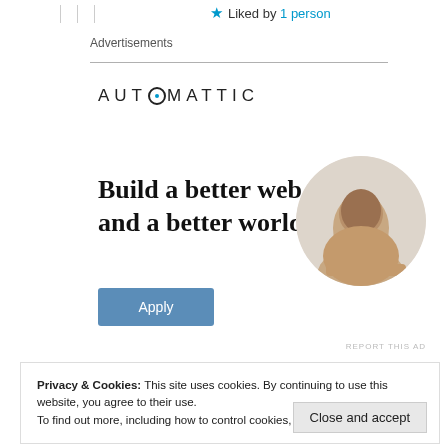Liked by 1 person
Advertisements
[Figure (logo): Automattic logo with stylized O]
Build a better web and a better world.
[Figure (photo): Circular cropped photo of a person thinking, resting chin on hand]
Apply
REPORT THIS AD
Privacy & Cookies: This site uses cookies. By continuing to use this website, you agree to their use.
To find out more, including how to control cookies, see here: Cookie Policy
Close and accept